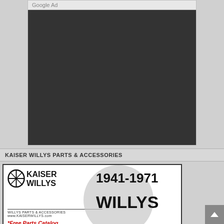Google Ad
[Figure (other): Dark/blank Google Ad placeholder box]
KAISER WILLYS PARTS & ACCESSORIES
[Figure (other): Kaiser Willys advertisement showing logo, '1941-1971 WILLYS' text, tagline 'WILLYS PARTS & ACCESSORIES', website www.KAISERWILLYS.com, and '*Free Parts Catalog' text with an illustrated Willys vehicle]